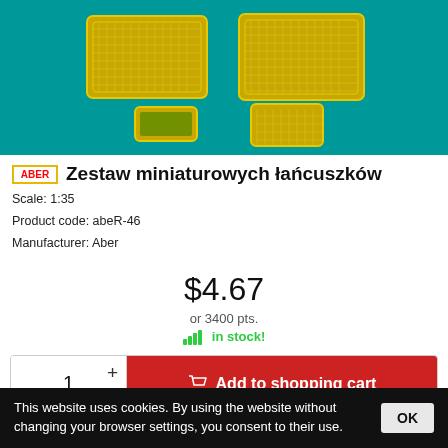[Figure (photo): Product photo of miniature chain sets on a teal background, showing several yellow-bordered metal grids/screens of different sizes]
Zestaw miniaturowych łańcuszków
Scale: 1:35
Product code: abeR-46
Manufacturer: Aber
$4.67
or 3400 pts.
in stock!
1  +  -  Add to shopping cart
Purchase with point   Reserve   Observe
This website uses cookies. By using the website without changing your browser settings, you consent to their use.  OK